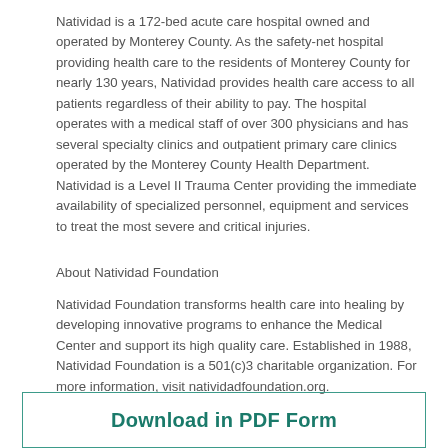Natividad is a 172-bed acute care hospital owned and operated by Monterey County. As the safety-net hospital providing health care to the residents of Monterey County for nearly 130 years, Natividad provides health care access to all patients regardless of their ability to pay. The hospital operates with a medical staff of over 300 physicians and has several specialty clinics and outpatient primary care clinics operated by the Monterey County Health Department. Natividad is a Level II Trauma Center providing the immediate availability of specialized personnel, equipment and services to treat the most severe and critical injuries.
About Natividad Foundation
Natividad Foundation transforms health care into healing by developing innovative programs to enhance the Medical Center and support its high quality care. Established in 1988, Natividad Foundation is a 501(c)3 charitable organization. For more information, visit natividadfoundation.org.
Download in PDF Form